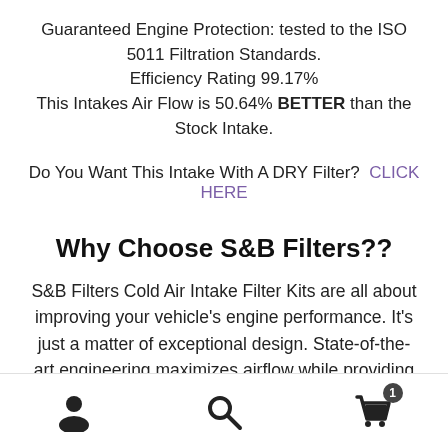Guaranteed Engine Protection: tested to the ISO 5011 Filtration Standards.
Efficiency Rating 99.17%
This Intakes Air Flow is 50.64% BETTER than the Stock Intake.
Do You Want This Intake With A DRY Filter?  CLICK HERE
Why Choose S&B Filters??
S&B Filters Cold Air Intake Filter Kits are all about improving your vehicle’s engine performance. It’s just a matter of exceptional design. State-of-the-art engineering maximizes airflow while providing a fit that
[user icon] [search icon] [cart icon with badge 1]